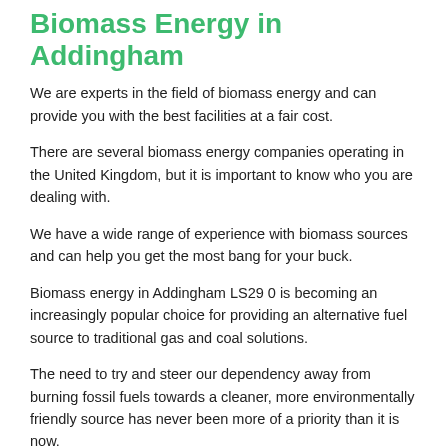Biomass Energy in Addingham
We are experts in the field of biomass energy and can provide you with the best facilities at a fair cost.
There are several biomass energy companies operating in the United Kingdom, but it is important to know who you are dealing with.
We have a wide range of experience with biomass sources and can help you get the most bang for your buck.
Biomass energy in Addingham LS29 0 is becoming an increasingly popular choice for providing an alternative fuel source to traditional gas and coal solutions.
The need to try and steer our dependency away from burning fossil fuels towards a cleaner, more environmentally friendly source has never been more of a priority than it is now.
The increase in global warming and industry means we should all be doing our part to offset our carbon footprint and decrease our reliance on fossi…